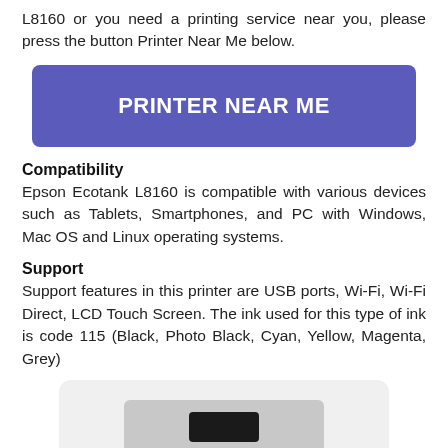L8160 or you need a printing service near you, please press the button Printer Near Me below.
[Figure (other): A large blue/purple button labeled PRINTER NEAR ME]
Compatibility
Epson Ecotank L8160 is compatible with various devices such as Tablets, Smartphones, and PC with Windows, Mac OS and Linux operating systems.
Support
Support features in this printer are USB ports, Wi-Fi, Wi-Fi Direct, LCD Touch Screen. The ink used for this type of ink is code 115 (Black, Photo Black, Cyan, Yellow, Magenta, Grey)
[Figure (photo): Bottom portion of an Epson Ecotank L8160 printer showing the grey printer body with a black control panel]